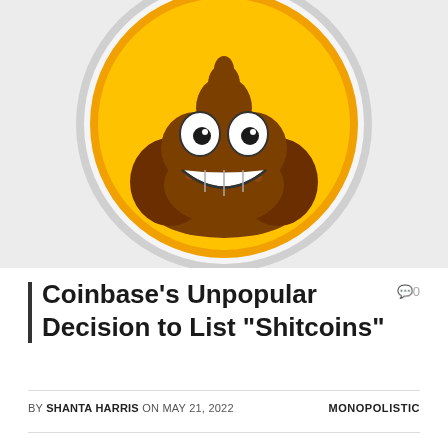[Figure (illustration): A cartoon poop emoji with googly eyes and a wide toothy smile, displayed inside a circular yellow coin with a light gray border, centered on a light gray background. The coin has an orange inner ring and a yellow background circle.]
Coinbase’s Unpopular Decision to List “Shitcoins”
BY SHANTA HARRIS ON MAY 21, 2022   MONOPOLISTIC